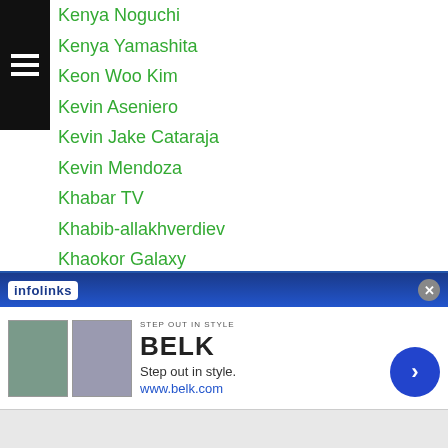Kenya Noguchi
Kenya Yamashita
Keon Woo Kim
Kevin Aseniero
Kevin Jake Cataraja
Kevin Mendoza
Khabar TV
Khabib-allakhverdiev
Khaokor Galaxy
Khaosai Galaxy
Khunkhiri-wor-wisaruth
Khusniddin Pulatov
Kiatkreerin
Ki Chang Go
Ki Hong Min
Kiko-martinez
[Figure (screenshot): Infolinks advertisement banner for BELK department store with tagline 'Step out in style.' and www.belk.com URL, overlaying the bottom portion of the list.]